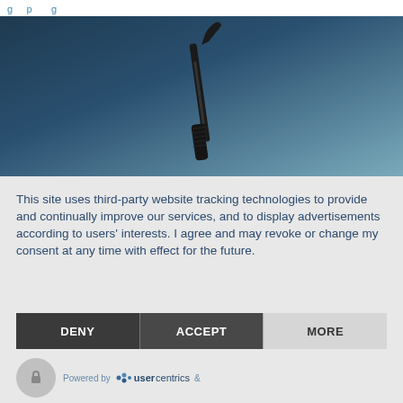[Figure (photo): A dental instrument (probe or scaler) photographed against a dark blue-grey gradient background, pointing upward diagonally.]
This site uses third-party website tracking technologies to provide and continually improve our services, and to display advertisements according to users' interests. I agree and may revoke or change my consent at any time with effect for the future.
[Figure (other): Three buttons in a row: DENY (dark grey), ACCEPT (dark grey), MORE (light grey)]
Powered by  usercentrics  &